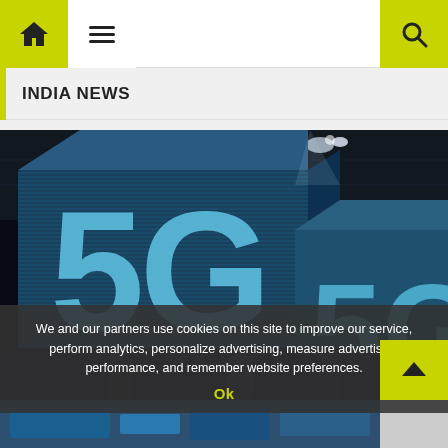Navigation bar with home, menu, and search icons
INDIA NEWS
[Figure (photo): Multiple illuminated 3D cube displays showing '5G' text in blue teal colors against a dark exhibition hall background, with people silhouetted below.]
We and our partners use cookies on this site to improve our service, perform analytics, personalize advertising, measure advertising performance, and remember website preferences.
Ok
[Figure (photo): Partial bottom thumbnail of another image, appears to show a technology-related scene.]